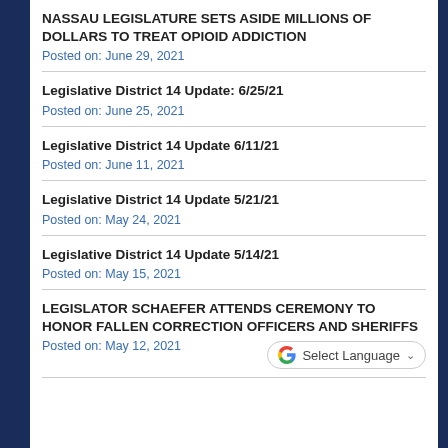NASSAU LEGISLATURE SETS ASIDE MILLIONS OF DOLLARS TO TREAT OPIOID ADDICTION
Posted on: June 29, 2021
Legislative District 14 Update: 6/25/21
Posted on: June 25, 2021
Legislative District 14 Update 6/11/21
Posted on: June 11, 2021
Legislative District 14 Update 5/21/21
Posted on: May 24, 2021
Legislative District 14 Update 5/14/21
Posted on: May 15, 2021
LEGISLATOR SCHAEFER ATTENDS CEREMONY TO HONOR FALLEN CORRECTION OFFICERS AND SHERIFFS
Posted on: May 12, 2021